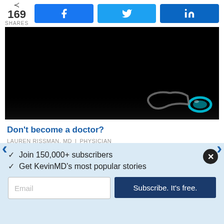169 SHARES | Facebook | Twitter | LinkedIn
[Figure (photo): Dark photo of a stethoscope on black background, teal/cyan colored stethoscope head visible in bottom right corner]
Don't become a doctor?
LAUREN RISSMAN, MD | PHYSICIAN
[Figure (photo): Partial view of a second article image below]
✓  Join 150,000+ subscribers
✓  Get KevinMD's most popular stories
Email  Subscribe. It's free.